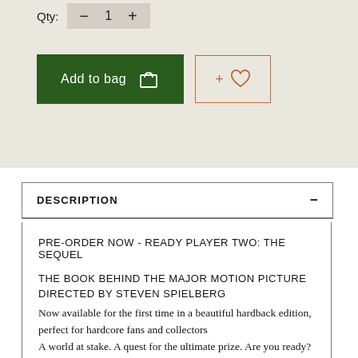Qty: − 1 +
Add to bag  [bag icon]
+ [heart icon]
DESCRIPTION −
PRE-ORDER NOW - READY PLAYER TWO: THE SEQUEL

THE BOOK BEHIND THE MAJOR MOTION PICTURE DIRECTED BY STEVEN SPIELBERG
Now available for the first time in a beautiful hardback edition, perfect for hardcore fans and collectors
A world at stake. A quest for the ultimate prize. Are you ready?